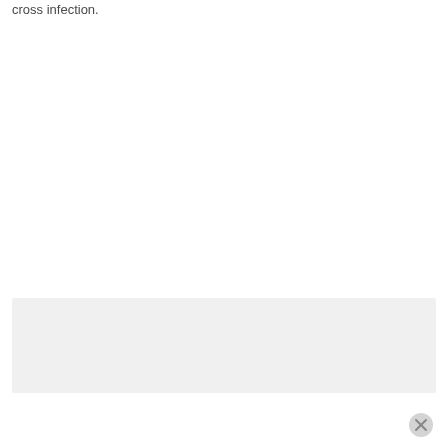cross infection.
[Figure (other): Gray rectangular banner/advertisement area at the bottom of the page with a close (X) button in the bottom-right corner.]